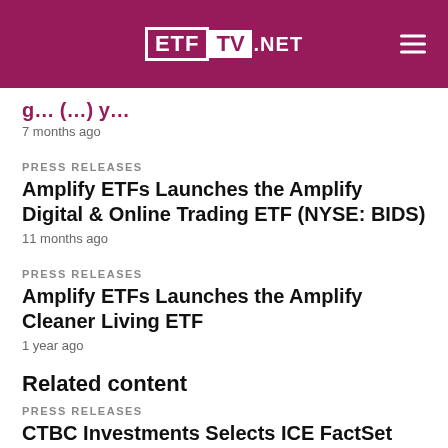ETF TV .NET
[partial title cropped]
7 months ago
PRESS RELEASES
Amplify ETFs Launches the Amplify Digital & Online Trading ETF (NYSE: BIDS)
11 months ago
PRESS RELEASES
Amplify ETFs Launches the Amplify Cleaner Living ETF
1 year ago
Related content
PRESS RELEASES
CTBC Investments Selects ICE FactSet Selected